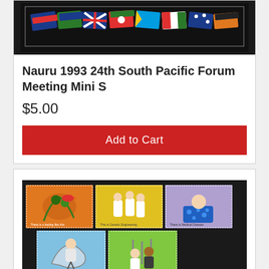[Figure (photo): Nauru 1993 24th South Pacific Forum Meeting Mini Sheet stamp showing colorful national flags of Pacific nations arranged in a row on a dark background]
Nauru 1993 24th South Pacific Forum Meeting Mini S
$5.00
Add to Cart
[Figure (photo): Sheet of five stamps featuring cartoon illustrations related to science and technology themes, arranged in two rows on a dark background: three stamps in top row (orange, yellow, purple backgrounds) and two stamps in bottom row (blue, green backgrounds)]